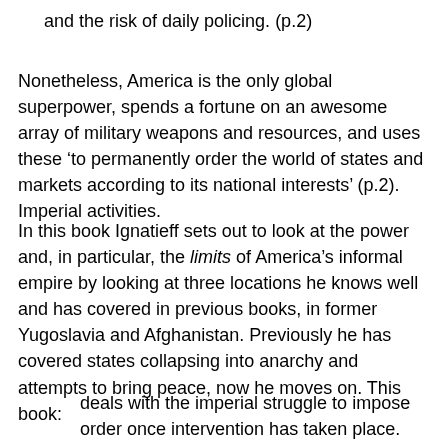and the risk of daily policing. (p.2)
Nonetheless, America is the only global superpower, spends a fortune on an awesome array of military weapons and resources, and uses these ‘to permanently order the world of states and markets according to its national interests’ (p.2). Imperial activities.
In this book Ignatieff sets out to look at the power and, in particular, the limits of America’s informal empire by looking at three locations he knows well and has covered in previous books, in former Yugoslavia and Afghanistan. Previously he has covered states collapsing into anarchy and attempts to bring peace, now he moves on. This book:
deals with the imperial struggle to impose order once intervention has taken place. (p.vii)